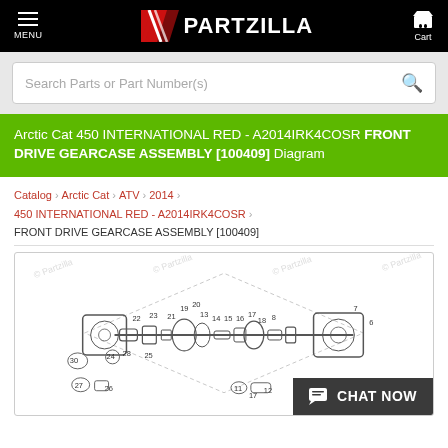MENU | PARTZILLA | Cart
Search Parts or Part Number(s)
Arctic Cat 450 INTERNATIONAL RED - A2014IRK4COSR FRONT DRIVE GEARCASE ASSEMBLY [100409] Diagram
Catalog > Arctic Cat > ATV > 2014 > 450 INTERNATIONAL RED - A2014IRK4COSR > FRONT DRIVE GEARCASE ASSEMBLY [100409]
[Figure (engineering-diagram): Exploded parts diagram of the Front Drive Gearcase Assembly [100409] for Arctic Cat 450 International Red ATV, showing numbered components with watermark © Partzilla visible multiple times]